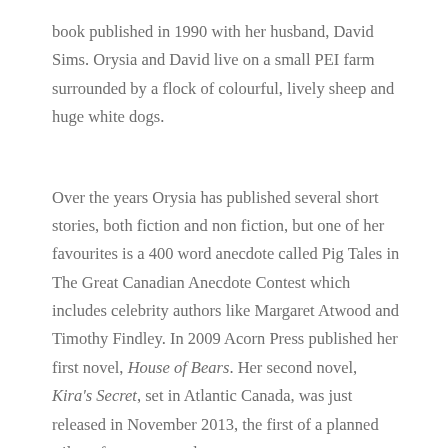book published in 1990 with her husband, David Sims. Orysia and David live on a small PEI farm surrounded by a flock of colourful, lively sheep and huge white dogs.
Over the years Orysia has published several short stories, both fiction and non fiction, but one of her favourites is a 400 word anecdote called Pig Tales in The Great Canadian Anecdote Contest which includes celebrity authors like Margaret Atwood and Timothy Findley. In 2009 Acorn Press published her first novel, House of Bears. Her second novel, Kira's Secret, set in Atlantic Canada, was just released in November 2013, the first of a planned trilogy for young readers.